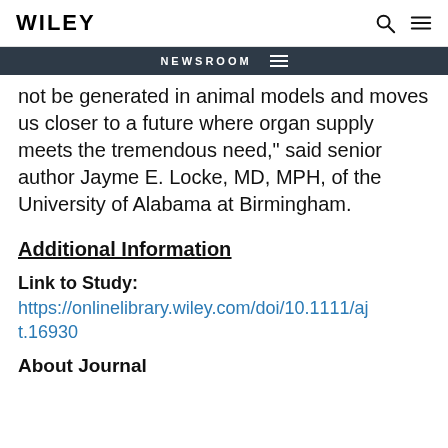WILEY
NEWSROOM
not be generated in animal models and moves us closer to a future where organ supply meets the tremendous need," said senior author Jayme E. Locke, MD, MPH, of the University of Alabama at Birmingham.
Additional Information
Link to Study:
https://onlinelibrary.wiley.com/doi/10.1111/ajt.16930
About Journal